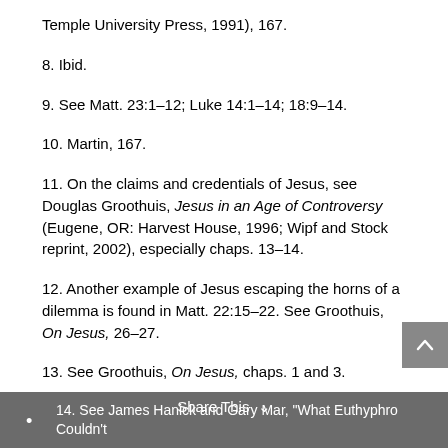Temple University Press, 1991), 167.
8. Ibid.
9. See Matt. 23:1–12; Luke 14:1–14; 18:9–14.
10. Martin, 167.
11. On the claims and credentials of Jesus, see Douglas Groothuis, Jesus in an Age of Controversy (Eugene, OR: Harvest House, 1996; Wipf and Stock reprint, 2002), especially chaps. 13–14.
12. Another example of Jesus escaping the horns of a dilemma is found in Matt. 22:15–22. See Groothuis, On Jesus, 26–27.
13. See Groothuis, On Jesus, chaps. 1 and 3.
14. See James Hanick and Gary Mar, "What Euthyphro Couldn't
Share This